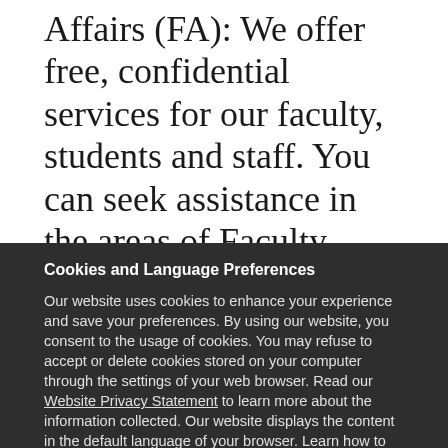Affairs (FA): We offer free, confidential services for our faculty, students and staff. You can seek assistance in the areas of Faculty Wellness, Equity and Diversity Issues, Professionalism.
The office of Faculty Affairs (FA) oversees faculty affairs
Cookies and Language Preferences
Our website uses cookies to enhance your experience and save your preferences. By using our website, you consent to the usage of cookies. You may refuse to accept or delete cookies stored on your computer through the settings of your web browser. Read our Website Privacy Statement to learn more about the information collected. Our website displays the content in the default language of your browser. Learn how to